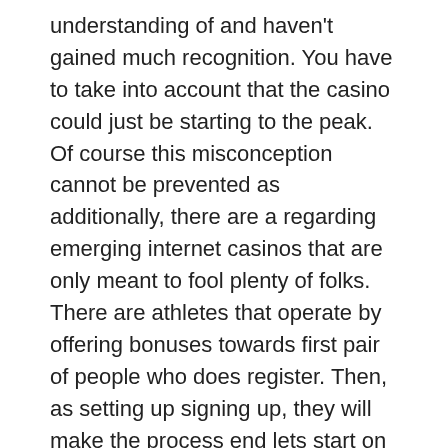understanding of and haven't gained much recognition. You have to take into account that the casino could just be starting to the peak. Of course this misconception cannot be prevented as additionally, there are a regarding emerging internet casinos that are only meant to fool plenty of folks. There are athletes that operate by offering bonuses towards first pair of people who does register. Then, as setting up signing up, they will make the process end lets start on you cash on the listing. You need to be careful of these kinds of methods.
So as opposed to trying flip twenty dollars into forty, try changing that $ 20 into 30. This is because when betting for that value, it will take only 2 different people of decent wins attain the profit, instead various when looking double funds